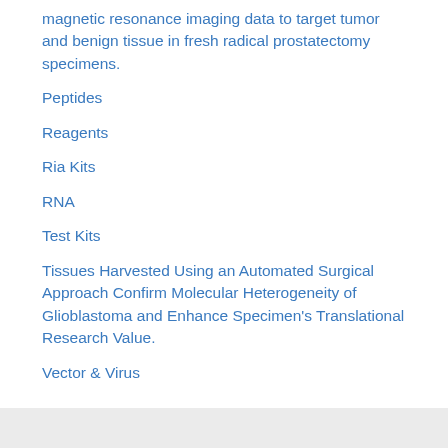magnetic resonance imaging data to target tumor and benign tissue in fresh radical prostatectomy specimens.
Peptides
Reagents
Ria Kits
RNA
Test Kits
Tissues Harvested Using an Automated Surgical Approach Confirm Molecular Heterogeneity of Glioblastoma and Enhance Specimen's Translational Research Value.
Vector & Virus